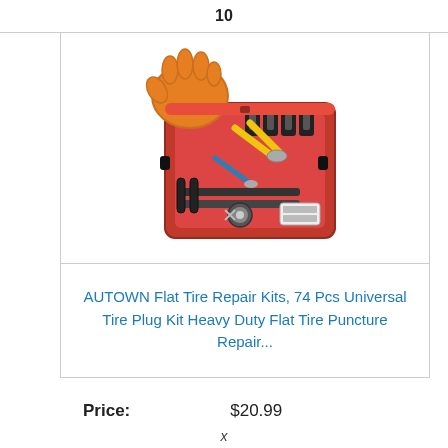10
[Figure (photo): Product photo of AUTOWN flat tire repair kit in a red case with tools, pliers, plugs, and orange gloves]
AUTOWN Flat Tire Repair Kits, 74 Pcs Universal Tire Plug Kit Heavy Duty Flat Tire Puncture Repair...
| Price: | $20.99 |
x